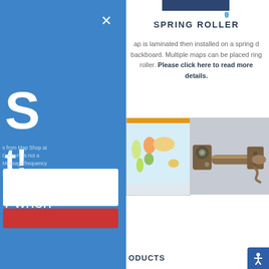SPRING ROLLER
ap is laminated then installed on a spring d backboard. Multiple maps can be placed ring roller. Please click here to read more details.
[Figure (photo): Two photos side by side: left shows a world map poster, right shows a spring roller hardware mechanism in bronze/brown metal]
ODUCTS